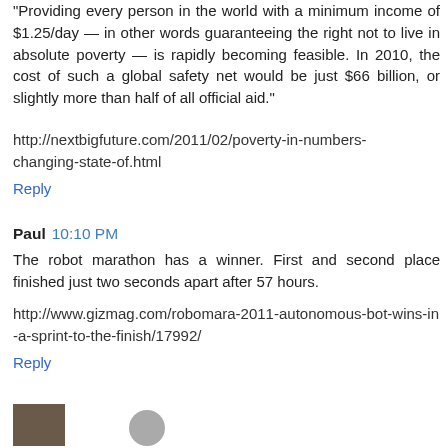"Providing every person in the world with a minimum income of $1.25/day — in other words guaranteeing the right not to live in absolute poverty — is rapidly becoming feasible. In 2010, the cost of such a global safety net would be just $66 billion, or slightly more than half of all official aid."
http://nextbigfuture.com/2011/02/poverty-in-numbers-changing-state-of.html
Reply
Paul  10:10 PM
The robot marathon has a winner. First and second place finished just two seconds apart after 57 hours.
http://www.gizmag.com/robomara-2011-autonomous-bot-wins-in-a-sprint-to-the-finish/17992/
Reply